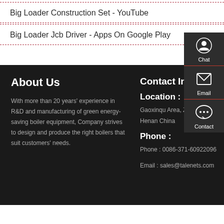Big Loader Construction Set - YouTube
Big Loader Jcb Driver - Apps On Google Play
About Us
With more than 20 years' experience in R&D and manufacturing of green energy-saving boiler equipment, Company strives to design and produce the right boilers that suit customers' needs.
Contact Info
Location :
Gaoxinqu Area, Zhengzhou, Henan China
Phone :
Phone : 0086-371-60922096
Email : sales@talenets.com